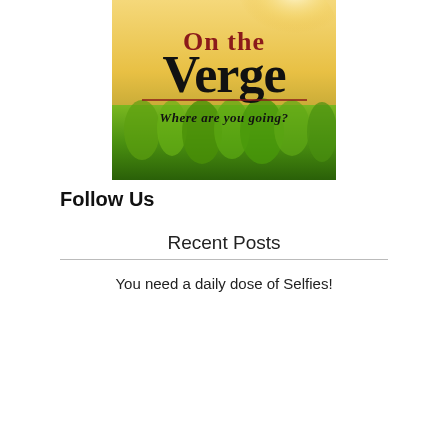[Figure (logo): On the Verge blog logo — outdoor photo with sunlit grass background, text reads 'On the Verge — Where are you going?' in bold serif/italic fonts with dark red and black colors, underline separating title from tagline]
Follow Us
Recent Posts
You need a daily dose of Selfies!